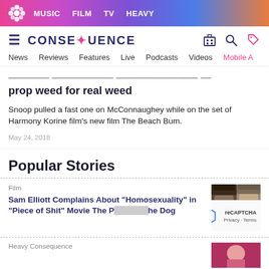MUSIC  FILM  TV  HEAVY
[Figure (logo): Consequence of Sound logo with navigation icons (hamburger menu, building icon, search icon, shop icon)]
News  Reviews  Features  Live  Podcasts  Videos  Mobile A
Snoop Dogg Swapped Matthew McConaughey's prop weed for real weed
Snoop pulled a fast one on McConnaughey while on the set of Harmony Korine film's new film The Beach Bum.
May 24, 2018
Popular Stories
Film
Sam Elliott Complains About "Homosexuality" in "Piece of Shit" Movie The Power of the Dog
[Figure (photo): Two men wearing cowboy hats, thumbnail image for article about Sam Elliott and The Power of the Dog]
Heavy Consequence